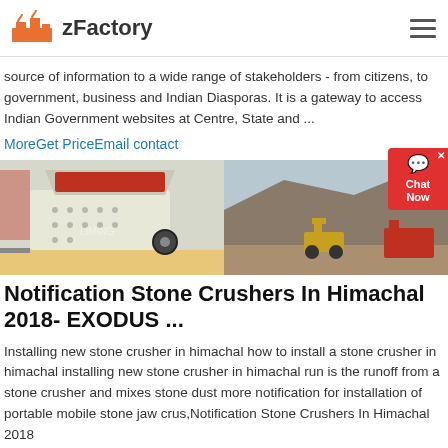zFactory
source of information to a wide range of stakeholders - from citizens, to government, business and Indian Diasporas. It is a gateway to access Indian Government websites at Centre, State and ...
MoreGet PriceEmail contact
[Figure (photo): Two-panel image: left shows an industrial impact crusher machine (yellow/cream colored) in a factory setting; right shows a stone quarry/mining site with machinery and rock piles.]
Notification Stone Crushers In Himachal 2018- EXODUS ...
Installing new stone crusher in himachal how to install a stone crusher in himachal installing new stone crusher in himachal run is the runoff from a stone crusher and mixes stone dust more notification for installation of portable mobile stone jaw crus,Notification Stone Crushers In Himachal 2018